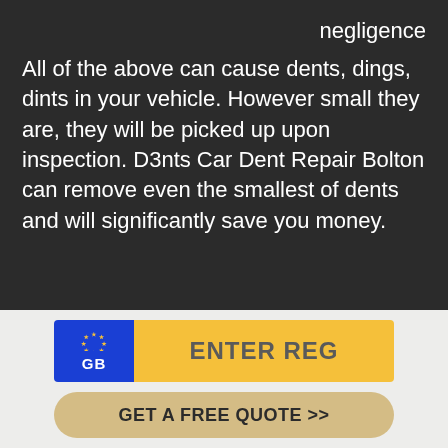negligence
All of the above can cause dents, dings, dints in your vehicle. However small they are, they will be picked up upon inspection. D3nts Car Dent Repair Bolton can remove even the smallest of dents and will significantly save you money.
[Figure (infographic): Vehicle registration entry widget with GB blue badge showing EU stars and 'GB' text on left, and yellow 'ENTER REG' input field on right]
GET A FREE QUOTE >>